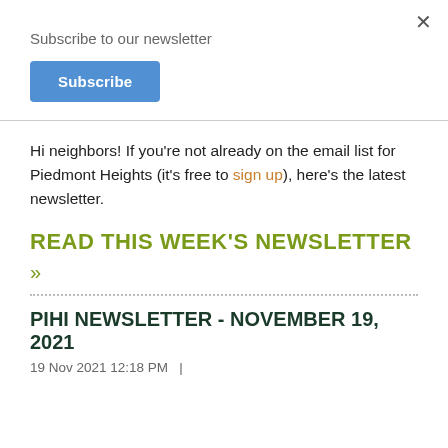×
Subscribe to our newsletter
Subscribe
Hi neighbors! If you're not already on the email list for Piedmont Heights (it's free to sign up), here's the latest newsletter.
READ THIS WEEK'S NEWSLETTER
»
PIHI NEWSLETTER - NOVEMBER 19, 2021
19 Nov 2021 12:18 PM  |